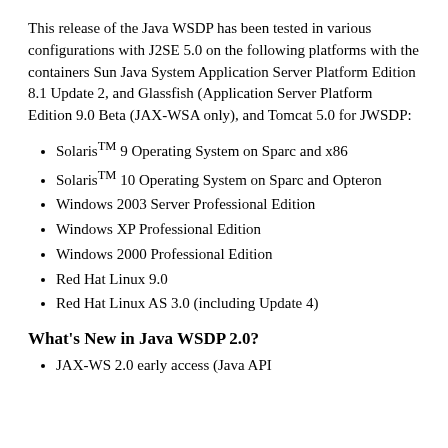This release of the Java WSDP has been tested in various configurations with J2SE 5.0 on the following platforms with the containers Sun Java System Application Server Platform Edition 8.1 Update 2, and Glassfish (Application Server Platform Edition 9.0 Beta (JAX-WSA only), and Tomcat 5.0 for JWSDP:
Solaris™ 9 Operating System on Sparc and x86
Solaris™ 10 Operating System on Sparc and Opteron
Windows 2003 Server Professional Edition
Windows XP Professional Edition
Windows 2000 Professional Edition
Red Hat Linux 9.0
Red Hat Linux AS 3.0 (including Update 4)
What's New in Java WSDP 2.0?
JAX-WS 2.0 early access (Java API